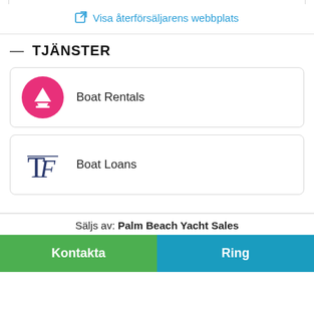Visa återförsäljarens webbplats
TJÄNSTER
Boat Rentals
Boat Loans
Säljs av: Palm Beach Yacht Sales
Kontakta
Ring